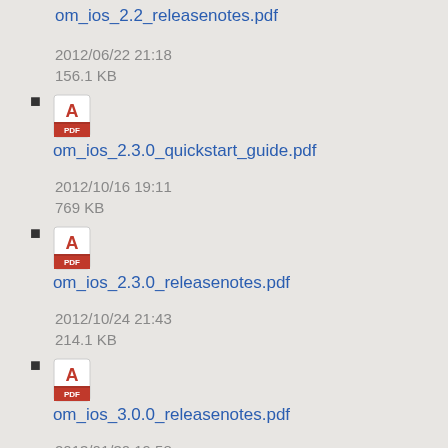om_ios_2.2_releasenotes.pdf (truncated at top)
om_ios_2.3.0_quickstart_guide.pdf
2012/06/22 21:18
156.1 KB
om_ios_2.3.0_releasenotes.pdf
2012/10/16 19:11
769 KB
om_ios_3.0.0_releasenotes.pdf
2012/10/24 21:43
214.1 KB
2013/01/30 19:58
222.8 KB